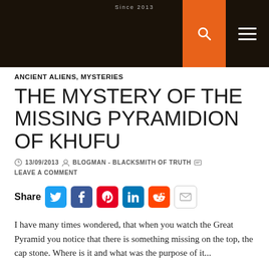Since 2013
ANCIENT ALIENS, MYSTERIES
THE MYSTERY OF THE MISSING PYRAMIDION OF KHUFU
13/09/2013  BLOGMAN - BLACKSMITH OF TRUTH  LEAVE A COMMENT
[Figure (infographic): Share bar with social icons: Twitter, Facebook, Pinterest, LinkedIn, Reddit, Email]
I have many times wondered, that when you watch the Great Pyramid you notice that there is something missing on the top, the cap stone. Where is it and what was the purpose of it...